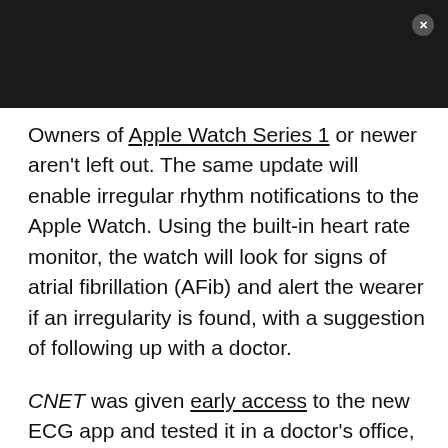[Figure (screenshot): Dark header bar with close button (X) in top right corner]
Owners of Apple Watch Series 1 or newer aren't left out. The same update will enable irregular rhythm notifications to the Apple Watch. Using the built-in heart rate monitor, the watch will look for signs of atrial fibrillation (AFib) and alert the wearer if an irregularity is found, with a suggestion of following up with a doctor.
CNET was given early access to the new ECG app and tested it in a doctor's office, and the experience for Vanessa Hand Orellana is something you'll just have to read.